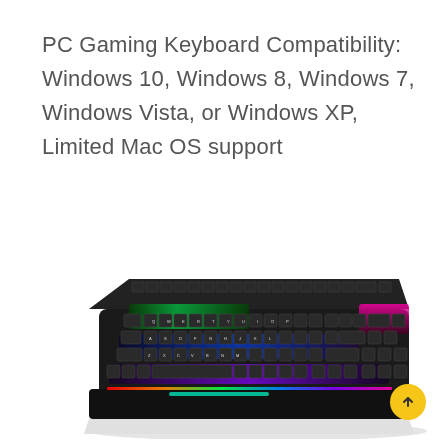PC Gaming Keyboard Compatibility: Windows 10, Windows 8, Windows 7, Windows Vista, or Windows XP, Limited Mac OS support
[Figure (photo): A black mechanical gaming keyboard with RGB backlighting showing multicolor illumination (green, blue, purple, red, pink) on the keys, viewed at an angle from the front-right side.]